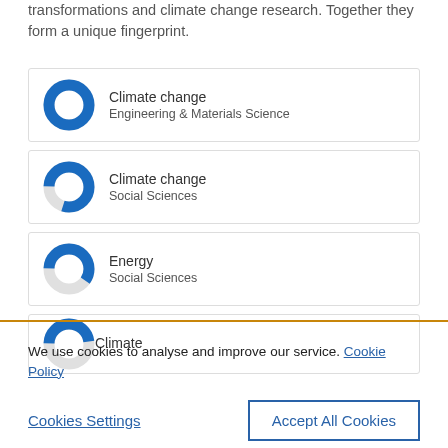transformations and climate change research. Together they form a unique fingerprint.
[Figure (donut-chart): 100% filled blue donut chart for Climate change, Engineering & Materials Science]
[Figure (donut-chart): ~80% filled blue donut chart for Climate change, Social Sciences]
[Figure (donut-chart): ~60% filled blue donut chart for Energy, Social Sciences]
[Figure (donut-chart): Partially visible donut chart for Climate]
We use cookies to analyse and improve our service. Cookie Policy
Cookies Settings
Accept All Cookies